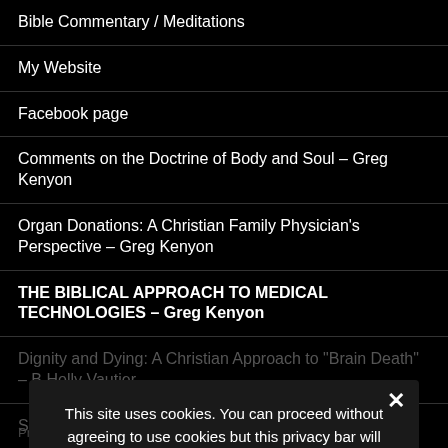Bible Commentary / Meditations
My Website
Facebook page
Comments on the Doctrine of Body and Soul – Greg Kenyon
Organ Donations: A Christian Family Physician's Perspective – Greg Kenyon
THE BIBLICAL APPROACH TO MEDICAL TECHNOLOGIES – Greg Kenyon
Dignity and Dying: A Christian Approach to "Brain Death" – B Holly Vautier
Second Thoughts About Body Parts – Gilder Phislander
This site uses cookies. You can proceed without agreeing to use cookies but this privacy bar will continue to appear on each page.
[Privacy Policy can be found here.]
❯ Privacy Preferences
I Agree
Privacy Policy  /  Proudly powered by WordPress